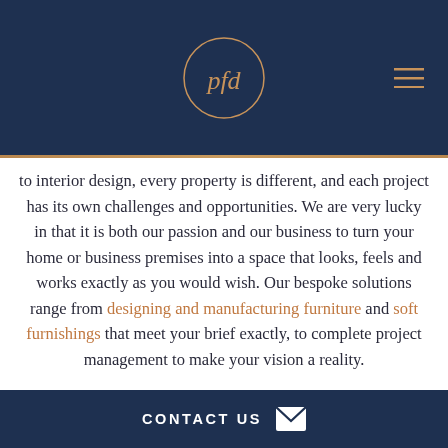[Figure (logo): PFD logo: circular outline with the letters 'pfd' in a handwritten style inside, on a dark navy background]
to interior design, every property is different, and each project has its own challenges and opportunities. We are very lucky in that it is both our passion and our business to turn your home or business premises into a space that looks, feels and works exactly as you would wish. Our bespoke solutions range from designing and manufacturing furniture and soft furnishings that meet your brief exactly, to complete project management to make your vision a reality.
OUR SERVICES IN SURREY
CONTACT US